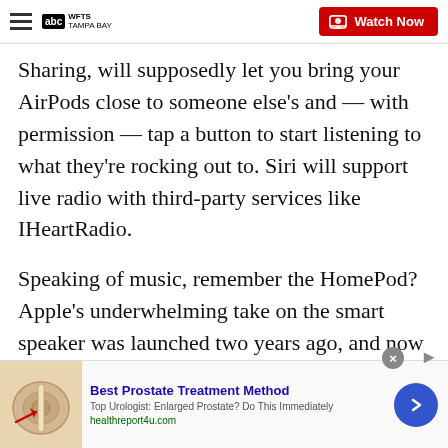WFTS Tampa Bay - Watch Now
Sharing, will supposedly let you bring your AirPods close to someone else's and — with permission — tap a button to start listening to what they're rocking out to. Siri will support live radio with third-party services like IHeartRadio.
Speaking of music, remember the HomePod? Apple's underwhelming take on the smart speaker was launched two years ago, and now it's adding some new features, including being able to recognize the voices of different users — just like Amazon and Google's smart speakers.
[Figure (infographic): Advertisement banner: Best Prostate Treatment Method. Top Urologist: Enlarged Prostate? Do This Immediately. healthreport4u.com. Shows anatomical prostate illustration with red arrow.]